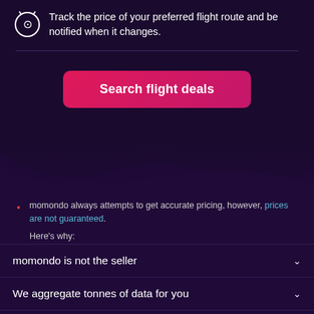Track the price of your preferred flight route and be notified when it changes.
[Figure (illustration): Clock/alert icon in a circular outline]
Search flight deals
[Figure (illustration): Wave/landscape transition graphic between dark purple sections]
momondo always attempts to get accurate pricing, however, prices are not guaranteed.
Here's why:
momondo is not the seller
We aggregate tonnes of data for you
Why aren't prices 100% accurate?